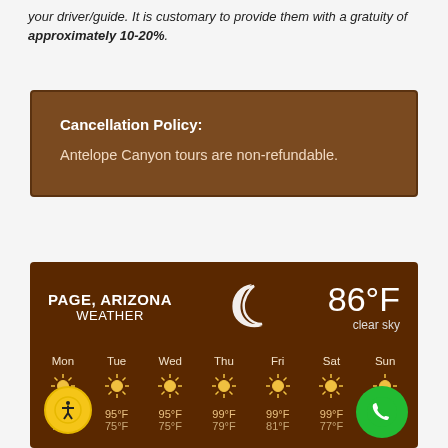your driver/guide. It is customary to provide them with a gratuity of approximately 10-20%.
Cancellation Policy: Antelope Canyon tours are non-refundable.
[Figure (infographic): Weather widget showing PAGE, ARIZONA WEATHER. Current: 86°F, clear sky with crescent moon icon. Weekly forecast: Mon–Sun with sun icons and high/low temperatures. Mon: 95°F/73°F, Tue: 95°F/75°F, Wed: 95°F/75°F, Thu: 99°F/79°F, Fri: 99°F/81°F, Sat: 99°F/77°F, Sun: (partial) 75°F]